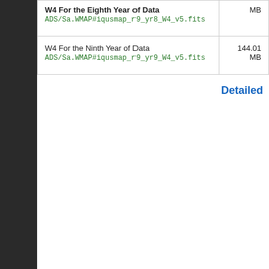| Dataset | Size |
| --- | --- |
| W4 For the Eighth Year of Data
ADS/Sa.WMAP#iqusmap_r9_yr8_W4_v5.fits | MB |
| W4 For the Ninth Year of Data
ADS/Sa.WMAP#iqusmap_r9_yr9_W4_v5.fits | 144.01 MB |
Detailed
A service of the HEASARC and of the Astrophysics Science Division at NASA/GSFC
[Figure (logo): NASA meatball logo - blue circle with red chevron and white NASA text]
[Figure (logo): Goddard Space Flight Center logo with cursive Goddard text]
HEASARC Director: Dr. LAMBDA Director: Dr. T NASA Official: Dr. Thom Web Curator: Mr. Micha
Comments/Feedback
NASA Astrophysics
Privacy Policy & Important Notices